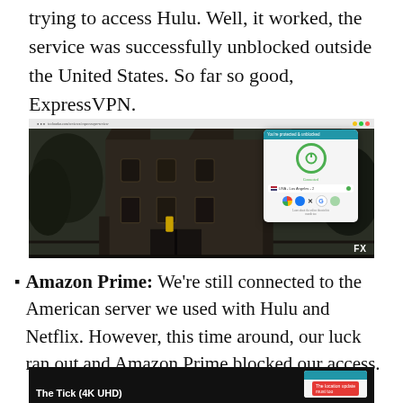trying to access Hulu. Well, it worked, the service was successfully unblocked outside the United States. So far so good, ExpressVPN.
[Figure (screenshot): Screenshot of a streaming video of a dark Victorian house, with an ExpressVPN browser popup overlay showing connected status, server location USA - Los Angeles - 2, browser icons, and an FX network logo in the bottom right.]
Amazon Prime: We're still connected to the American server we used with Hulu and Netflix. However, this time around, our luck ran out and Amazon Prime blocked our access.
[Figure (screenshot): Partial screenshot showing 'The Tick (4K UHD)' on a dark background with a partial ExpressVPN popup visible on the right.]